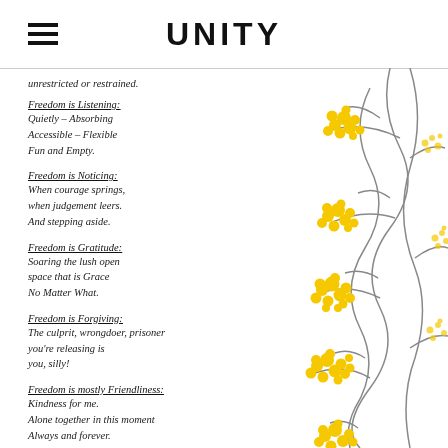UNITY
unrestricted or restrained.
Freedom is Listening:
Quietly – Absorbing
Accessible – Flexible
Fun and Empty.
Freedom is Noticing:
When courage springs,
when judgement leers.
And stepping aside.
Freedom is Gratitude:
Soaring the lush open
space that is Grace
No Matter What.
Freedom is Forgiving:
The culprit, wrongdoer, prisoner
you're releasing is
you, silly!
Freedom is mostly Friendliness:
Kindness for me.
Alone together in this moment
Always and forever.
[Figure (illustration): Decorative illustration of yellow wattle flowers on grey branches running vertically along the right side of the page]